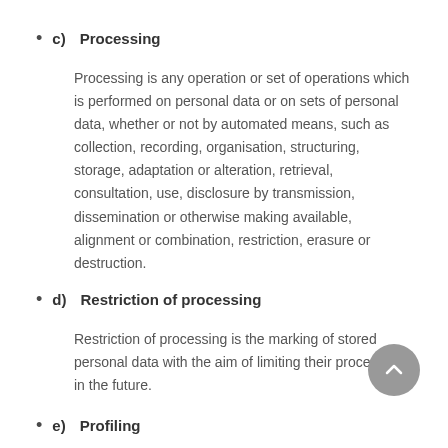c)  Processing
Processing is any operation or set of operations which is performed on personal data or on sets of personal data, whether or not by automated means, such as collection, recording, organisation, structuring, storage, adaptation or alteration, retrieval, consultation, use, disclosure by transmission, dissemination or otherwise making available, alignment or combination, restriction, erasure or destruction.
d)  Restriction of processing
Restriction of processing is the marking of stored personal data with the aim of limiting their processing in the future.
e)  Profiling